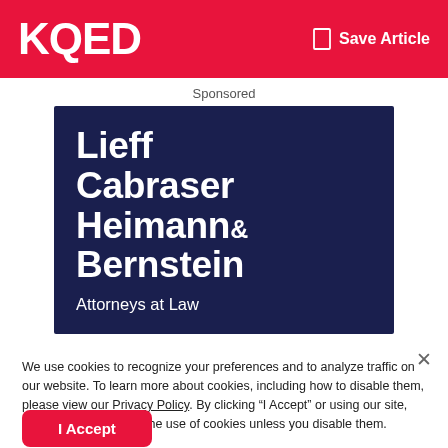KQED   Save Article
Sponsored
[Figure (logo): Lieff Cabraser Heimann & Bernstein Attorneys at Law law firm logo on dark navy background]
We use cookies to recognize your preferences and to analyze traffic on our website. To learn more about cookies, including how to disable them, please view our Privacy Policy. By clicking “I Accept” or using our site, you are consenting to the use of cookies unless you disable them.
I Accept